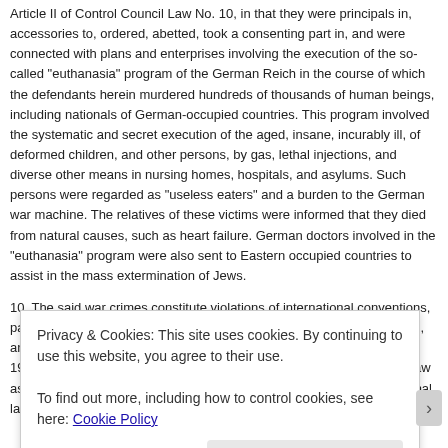Article II of Control Council Law No. 10, in that they were principals in, accessories to, ordered, abetted, took a consenting part in, and were connected with plans and enterprises involving the execution of the so-called "euthanasia" program of the German Reich in the course of which the defendants herein murdered hundreds of thousands of human beings, including nationals of German-occupied countries. This program involved the systematic and secret execution of the aged, insane, incurably ill, of deformed children, and other persons, by gas, lethal injections, and diverse other means in nursing homes, hospitals, and asylums. Such persons were regarded as "useless eaters" and a burden to the German war machine. The relatives of these victims were informed that they died from natural causes, such as heart failure. German doctors involved in the "euthanasia" program were also sent to Eastern occupied countries to assist in the mass extermination of Jews.
10. The said war crimes constitute violations of international conventions, particularly of Articles 4, 5, 6, 7, and 46 of the Hague Regulations, 1907, and Articles 2, 3, and 4 of the Prisoner-of-War Convention (Geneva, 1929), the laws and customs of war, the general principles of criminal law as derived from the criminal laws of all civilized nations, the internal penal laws of the countries in which such crimes were committed.
Privacy & Cookies: This site uses cookies. By continuing to use this website, you agree to their use. To find out more, including how to control cookies, see here: Cookie Policy